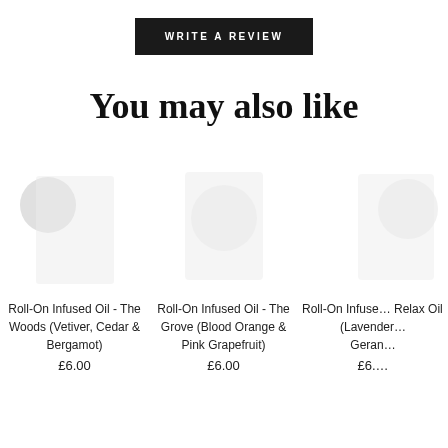WRITE A REVIEW
You may also like
[Figure (photo): Product image placeholder for Roll-On Infused Oil - The Woods]
Roll-On Infused Oil - The Woods (Vetiver, Cedar & Bergamot)
£6.00
[Figure (photo): Product image placeholder for Roll-On Infused Oil - The Grove]
Roll-On Infused Oil - The Grove (Blood Orange & Pink Grapefruit)
£6.00
[Figure (photo): Product image placeholder for Roll-On Infused Relax Oil (partially visible)]
Roll-On Infuse… Relax Oil - T… (Lavender… Geran…
£6.…